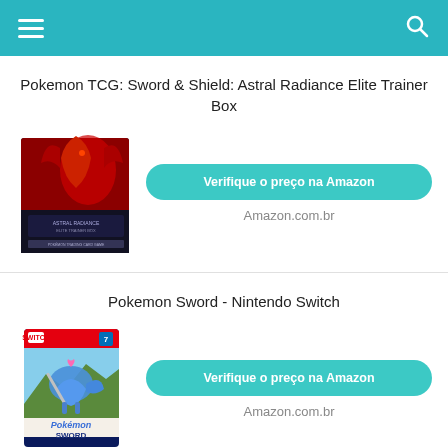Navigation bar with menu and search icons
Pokemon TCG: Sword & Shield: Astral Radiance Elite Trainer Box
[Figure (photo): Pokemon TCG Sword & Shield Astral Radiance Elite Trainer Box product image - red box with Pokémon artwork]
Verifique o preço na Amazon
Amazon.com.br
Pokemon Sword - Nintendo Switch
[Figure (photo): Pokemon Sword Nintendo Switch game case product image]
Verifique o preço na Amazon
Amazon.com.br
Pokemon Sword and Shield Astral Radiance (8) Sleeved Booster Packs Sealed
Verifique o preço na Amazon